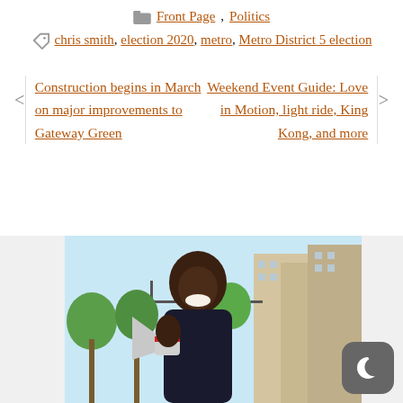Front Page, Politics
chris smith, election 2020, metro, Metro District 5 election
Construction begins in March on major improvements to Gateway Green
Weekend Event Guide: Love in Motion, light ride, King Kong, and more
[Figure (photo): Smiling Black man outdoors with a megaphone, city street background with buildings and trees]